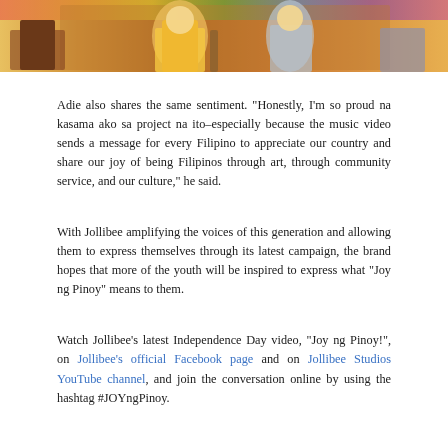[Figure (photo): Partial photo at top of page showing people, one in yellow outfit playing guitar, colorful background]
Adie also shares the same sentiment. “Honestly, I’m so proud na kasama ako sa project na ito–especially because the music video sends a message for every Filipino to appreciate our country and share our joy of being Filipinos through art, through community service, and our culture,” he said.
With Jollibee amplifying the voices of this generation and allowing them to express themselves through its latest campaign, the brand hopes that more of the youth will be inspired to express what “Joy ng Pinoy” means to them.
Watch Jollibee’s latest Independence Day video, “Joy ng Pinoy!”, on Jollibee’s official Facebook page and on Jollibee Studios YouTube channel, and join the conversation online by using the hashtag #JOYngPinoy.